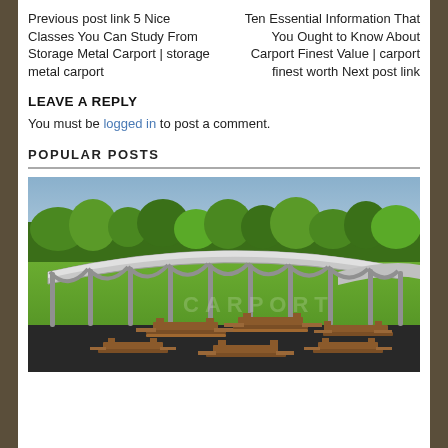Previous post link 5 Nice Classes You Can Study From Storage Metal Carport | storage metal carport
Ten Essential Information That You Ought to Know About Carport Finest Value | carport finest worth Next post link
LEAVE A REPLY
You must be logged in to post a comment.
POPULAR POSTS
[Figure (photo): A large open-sided metal carport structure with a curved roof over picnic tables on a paved surface, surrounded by green grass and trees in the background.]